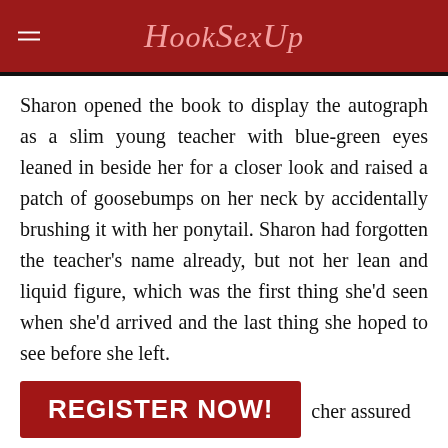HookSexUp
Sharon opened the book to display the autograph as a slim young teacher with blue-green eyes leaned in beside her for a closer look and raised a patch of goosebumps on her neck by accidentally brushing it with her ponytail. Sharon had forgotten the teacher’s name already, but not her lean and liquid figure, which was the first thing she’d seen when she’d arrived and the last thing she hoped to see before she left.
[Figure (other): Red REGISTER NOW! call-to-action button]
‘ cher assured the class. She grinned then, so delighted she